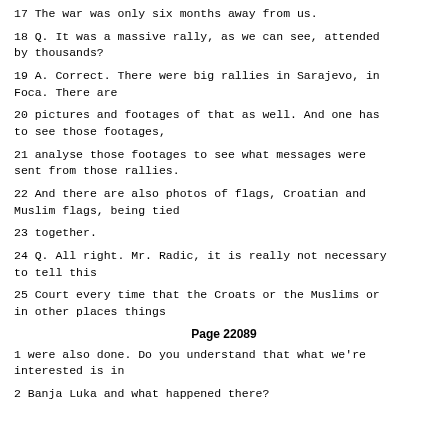17  The war was only six months away from us.
18 Q. It was a massive rally, as we can see, attended by thousands?
19 A. Correct. There were big rallies in Sarajevo, in Foca. There are
20 pictures and footages of that as well. And one has to see those footages,
21 analyse those footages to see what messages were sent from those rallies.
22 And there are also photos of flags, Croatian and Muslim flags, being tied
23 together.
24 Q. All right. Mr. Radic, it is really not necessary to tell this
25 Court every time that the Croats or the Muslims or in other places things
Page 22089
1 were also done. Do you understand that what we're interested is in
2 Banja Luka and what happened there?